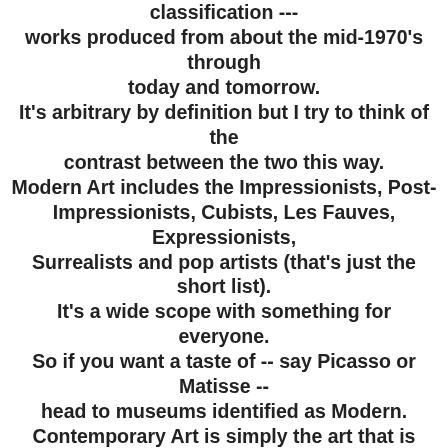classification --- works produced from about the mid-1970's through today and tomorrow. It's arbitrary by definition but I try to think of the contrast between the two this way. Modern Art includes the Impressionists, Post-Impressionists, Cubists, Les Fauves, Expressionists, Surrealists and pop artists (that's just the short list). It's a wide scope with something for everyone. So if you want a taste of -- say Picasso or Matisse -- head to museums identified as Modern.
Contemporary Art is simply the art that is evolving in today's world. From the mid-70's until now, art has re-invented itself into a myriad of ways. If so-called issues art (AIDS awareness, globalization, bio-engineering, etc), performance art and interactivity aren't your thing, then don't worry.